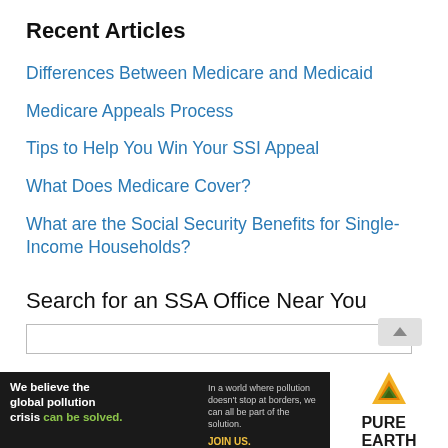Recent Articles
Differences Between Medicare and Medicaid
Medicare Appeals Process
Tips to Help You Win Your SSI Appeal
What Does Medicare Cover?
What are the Social Security Benefits for Single-Income Households?
Search for an SSA Office Near You
[Figure (illustration): Advertisement banner for Pure Earth: 'We believe the global pollution crisis can be solved.' with Pure Earth logo on the right.]